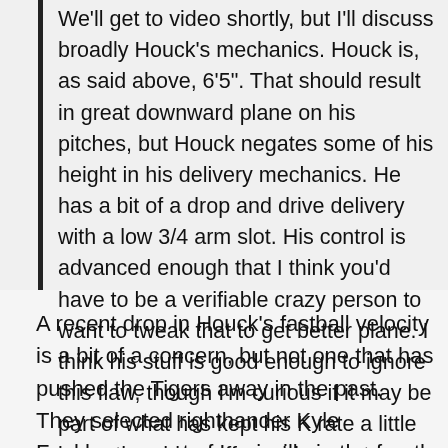We'll get to video shortly, but I'll discuss broadly Houck's mechanics. Houck is, as said above, 6'5". That should result in great downward plane on his pitches, but Houck negates some of his height in his delivery mechanics. He has a bit of a drop and drive delivery with a low 3/4 arm slot. His control is advanced enough that I think you'd have to be a verifiable crazy person to want to tweak that to get better plane. I think his stuff is good enough to ignore this flaw, though I'm curious if it may be part of what has kept his K rate a little lower than his stuff would seem to suggest (not that a roughly 9 K/9 IP is bad).
A recent drop in Houck's fastball velocity is a bit of a concern, but not one that has pushed the Tigers away in the past. They selected righthander Kyle Funkhouser out of Louisville in the fourth round of the